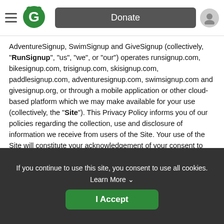[Figure (screenshot): Navigation bar with hamburger menu, green G logo, Donate button, and profile icon]
AdventureSignup, SwimSignup and GiveSignup (collectively, "RunSignup", "us", "we", or "our") operates runsignup.com, bikesignup.com, trisignup.com, skisignup.com, paddlesignup.com, adventuresignup.com, swimsignup.com and givesignup.org, or through a mobile application or other cloud-based platform which we may make available for your use (collectively, the "Site"). This Privacy Policy informs you of our policies regarding the collection, use and disclosure of information we receive from users of the Site. Your use of the Site will constitute your acknowledgement of your consent to abide and be bound by the Privacy Policy.
Our Commitment to Privacy
If you continue to use this site, you consent to use all cookies. Learn More
I Accept